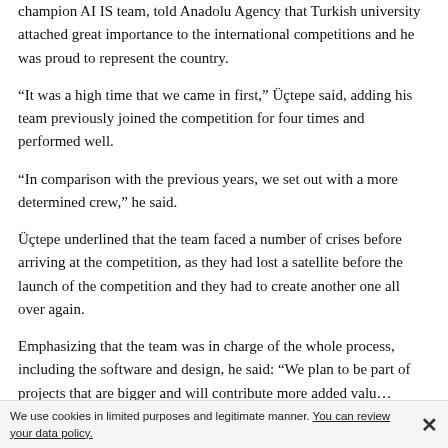champion AI IS team, told Anadolu Agency that Turkish university attached great importance to the international competitions and he was proud to represent the country.
“It was a high time that we came in first,” Üçtepe said, adding his team previously joined the competition for four times and performed well.
“In comparison with the previous years, we set out with a more determined crew,” he said.
Üçtepe underlined that the team faced a number of crises before arriving at the competition, as they had lost a satellite before the launch of the competition and they had to create another one all over again.
Emphasizing that the team was in charge of the whole process, including the software and design, he said: “We plan to be part of projects that are bigger and will contribute more added value…”
We use cookies in limited purposes and legitimate manner. You can review your data policy.